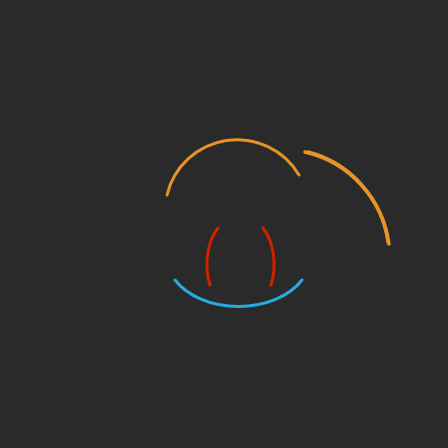[Figure (logo): Abstract loading/spinner logo on dark background: three concentric arc segments in orange (top, large arc), red (middle, two small parenthesis-like arcs), and cyan/blue (bottom, medium arc). Dark charcoal background.]